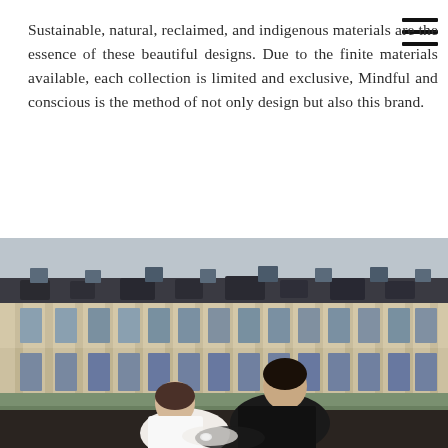Sustainable, natural, reclaimed, and indigenous materials are the essence of these beautiful designs. Due to the finite materials available, each collection is limited and exclusive, Mindful and conscious is the method of not only design but also this brand.
[Figure (photo): A couple — a woman in white leaning on a man in black — posed in front of a grand classical European building (resembling the Louvre or similar palatial architecture), photographed outdoors on a lawn.]